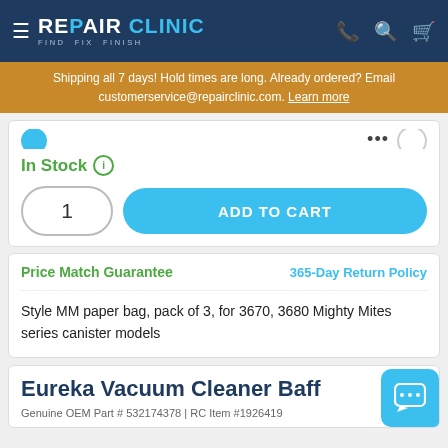Repair Clinic — Find. Fix. Finish.
Shipping all 7 days! Hold times are long. Already ordered? Email customerservice@repairclinic.com. Learn more
In Stock
1  ADD TO CART
Price Match Guarantee
365-Day Return Policy
Style MM paper bag, pack of 3, for 3670, 3680 Mighty Mites series canister models
Eureka Vacuum Cleaner Baff
Genuine OEM Part # 532174378 | RC Item #1926419